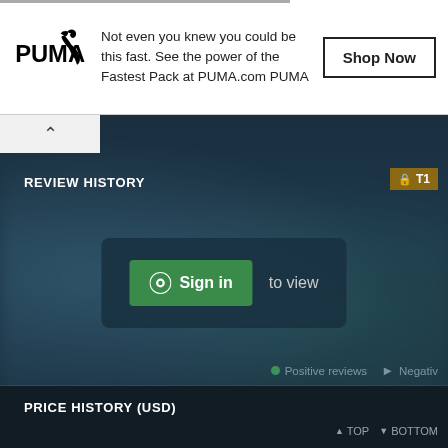[Figure (screenshot): PUMA advertisement banner with logo, text 'Not even you knew you could be this fast. See the power of the Fastest Pack at PUMA.com PUMA', and a Shop Now button]
Not even you knew you could be this fast. See the power of the Fastest Pack at PUMA.com PUMA
REVIEW HISTORY
Sign in  to view
Positive reviews
Negative
PRICE HISTORY (USD)
▲ TOP  ▼ BOTTOM